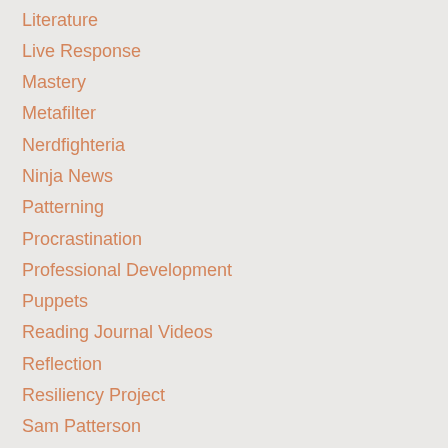Literature
Live Response
Mastery
Metafilter
Nerdfighteria
Ninja News
Patterning
Procrastination
Professional Development
Puppets
Reading Journal Videos
Reflection
Resiliency Project
Sam Patterson
San Francisco Stories
Showme
Spring Semester 13
Student Post
Success